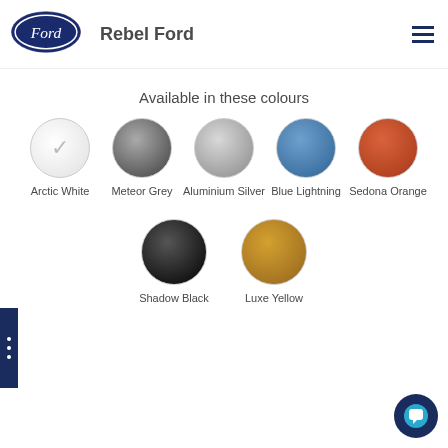[Figure (logo): Ford oval logo in dark navy blue with white cursive Ford text]
Rebel Ford
Available in these colours
[Figure (infographic): Seven colour swatches: Arctic White (selected with checkmark), Meteor Grey, Aluminium Silver, Blue Lightning, Sedona Orange, Shadow Black, Luxe Yellow]
Arctic White
Meteor Grey
Aluminium Silver
Blue Lightning
Sedona Orange
Shadow Black
Luxe Yellow